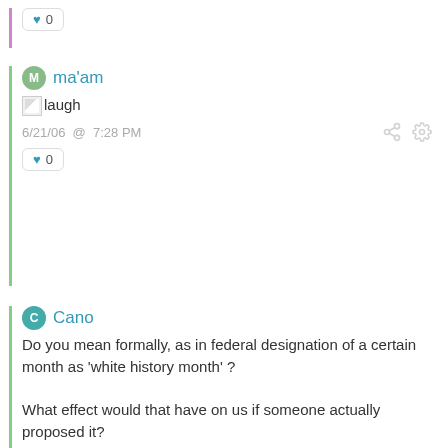[Figure (screenshot): Like button with heart icon showing count 0]
ma'am
[laugh]
6/21/06 @ 7:28 PM
[Figure (screenshot): Like button with heart icon showing count 0]
Cano
Do you mean formally, as in federal designation of a certain month as 'white history month' ?

What effect would that have on us if someone actually proposed it?